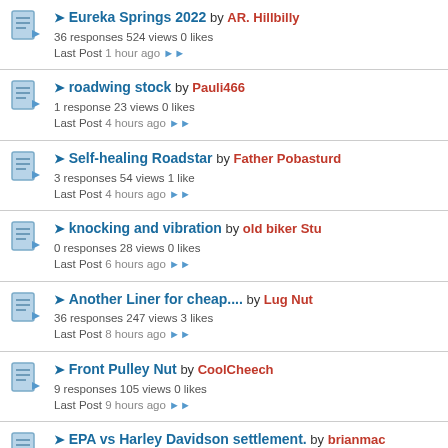Eureka Springs 2022 by AR. Hillbilly — 36 responses 524 views 0 likes — Last Post 1 hour ago
roadwing stock by Pauli466 — 1 response 23 views 0 likes — Last Post 4 hours ago
Self-healing Roadstar by Father Pobasturd — 3 responses 54 views 1 like — Last Post 4 hours ago
knocking and vibration by old biker Stu — 0 responses 28 views 0 likes — Last Post 6 hours ago
Another Liner for cheap.... by Lug Nut — 36 responses 247 views 3 likes — Last Post 8 hours ago
Front Pulley Nut by CoolCheech — 9 responses 105 views 0 likes — Last Post 9 hours ago
EPA vs Harley Davidson settlement. by brianmac — 12 responses 140 views 0 likes — Last Post 15 hours ago